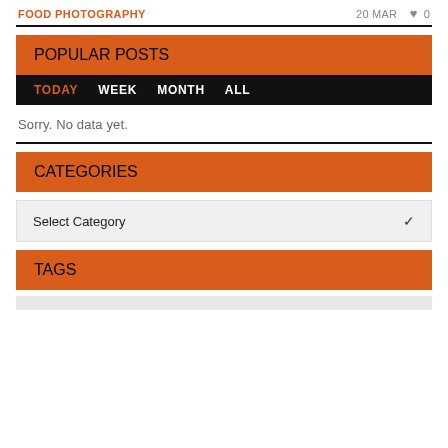FOOD PHOTOGRAPHY    20 MAR  ♥ 0
POPULAR POSTS
TODAY   WEEK   MONTH   ALL
Sorry. No data yet.
CATEGORIES
Select Category
TAGS